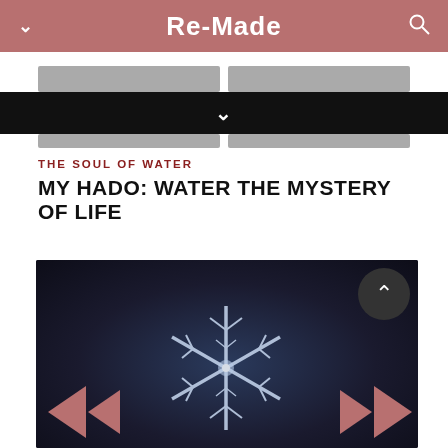Re-Made
[Figure (screenshot): Navigation/dropdown tab area with gray tabs and black expanded bar with chevron]
THE SOUL OF WATER
MY HADO: WATER THE MYSTERY OF LIFE
[Figure (photo): Photograph of a water crystal snowflake on dark blue background with navigation arrows on left and right]